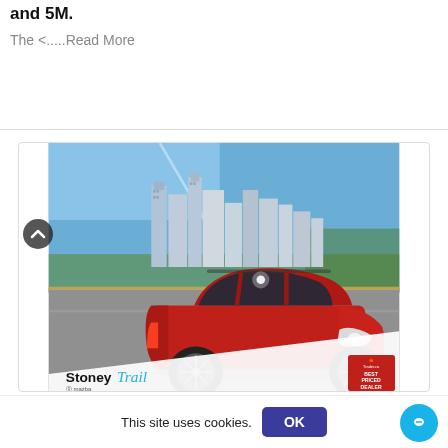and 5M.
The <.....Read More
[Figure (photo): Red Mazda CX-5 SUV parked in front of a city skyline, with a Stoney Trail Mazda dealership logo and a Trader.ca Best Priced Dealer badge in the bottom right corner. An upward arrow navigation button appears on the left side.]
This site uses cookies.  OK